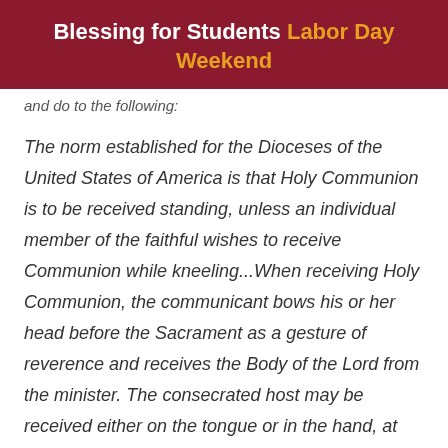Blessing for Students Labor Day Weekend
and do to the following:
The norm established for the Dioceses of the United States of America is that Holy Communion is to be received standing, unless an individual member of the faithful wishes to receive Communion while kneeling...When receiving Holy Communion, the communicant bows his or her head before the Sacrament as a gesture of reverence and receives the Body of the Lord from the minister. The consecrated host may be received either on the tongue or in the hand, at the discretion of each communicant. When Holy Communion is received